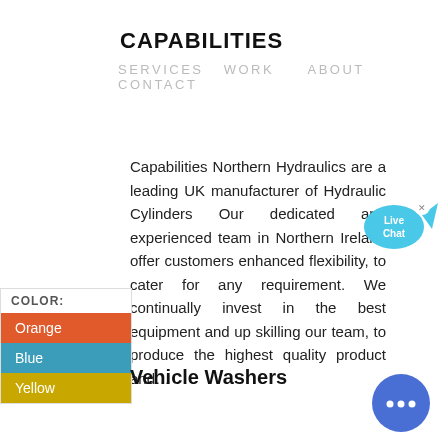CAPABILITIES
SERVICES   WORK      ABOUT   CONTACT
Capabilities Northern Hydraulics are a leading UK manufacturer of Hydraulic Cylinders Our dedicated and experienced team in Northern Ireland offer customers enhanced flexibility, to cater for any requirement. We continually invest in the best equipment and up skilling our team, to produce the highest quality product and...
[Figure (infographic): Live Chat speech bubble icon in cyan/blue with 'Live Chat' text and a close (x) button]
| COLOR: |
| --- |
| Orange |
| Blue |
| Yellow |
Vehicle Washers
[Figure (infographic): Blue circular chat button with three dots (ellipsis) icon in bottom right corner]